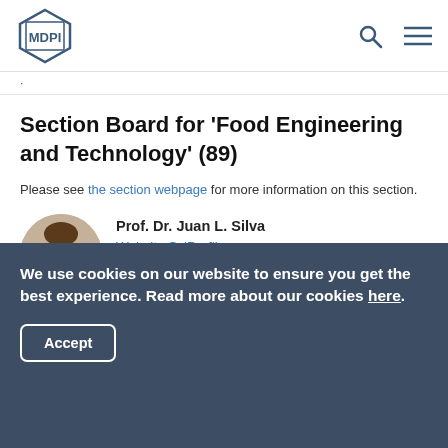MDPI
Section Board for 'Food Engineering and Technology' (89)
Please see the section webpage for more information on this section.
[Figure (photo): Headshot photo of Prof. Dr. Juan L. Silva]
Prof. Dr. Juan L. Silva
Website SciProfiles
Section Editor-in-Chief
Food Processing and Safety Department of Food Science, Nutrition, and Health Promotion, Mississippi State University, 945 Stone Blvd.,
We use cookies on our website to ensure you get the best experience. Read more about our cookies here.
Accept